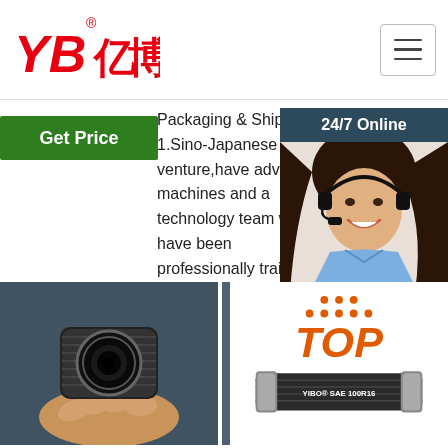[Figure (logo): YB亿博 logo in red with registered trademark symbol]
[Figure (other): Hamburger/menu icon button in top right corner]
Get Price
Packaging & Shipping 1.Sino-Japanese joint-venture,have advance machines and a technology team who have been professionally trained in Japan. 2.With more than ten years ...
1 Piece ...
[Figure (other): 24/7 Online support panel with woman wearing headset, Click here for free chat! text, and QUOTATION orange button]
Get Price
[Figure (photo): Close-up photo of hand holding hydraulic hose end fitting, showing interior]
[Figure (photo): Close-up photo of hand holding hydraulic hose end fitting, showing interior]
[Figure (logo): TOP logo with orange dots above and YIBO SAE 100 R16 hydraulic hose image below]